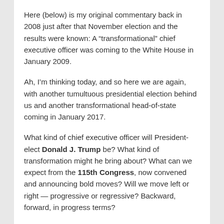Here (below) is my original commentary back in 2008 just after that November election and the results were known: A “transformational” chief executive officer was coming to the White House in January 2009.
Ah, I’m thinking today, and so here we are again, with another tumultuous presidential election behind us and another transformational head-of-state coming in January 2017.
What kind of chief executive officer will President-elect Donald J. Trump be? What kind of transformation might he bring about? What can we expect from the 115th Congress, now convened and announcing bold moves? Will we move left or right — progressive or regressive? Backward, forward, in progress terms?
What lessons should we take forward from the past, in the Progressive Era for application in this 21st Century — if not to be taking literally, then as wonderful inspiration for doing the right thing for all Americans!